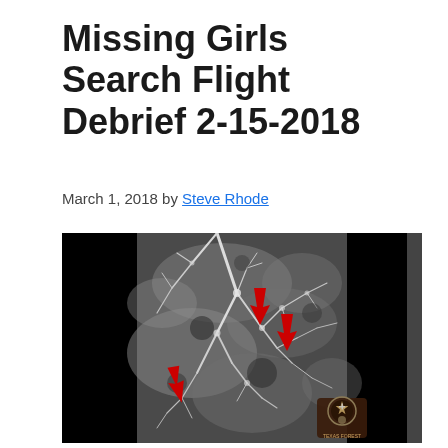Missing Girls Search Flight Debrief 2-15-2018
March 1, 2018 by Steve Rhode
[Figure (photo): Aerial infrared/thermal grayscale image showing tree canopy from above with three red arrows pointing to specific locations on the ground. A law enforcement badge/patch logo is visible in the bottom right corner. Black bars appear on the left and right sides of the image.]